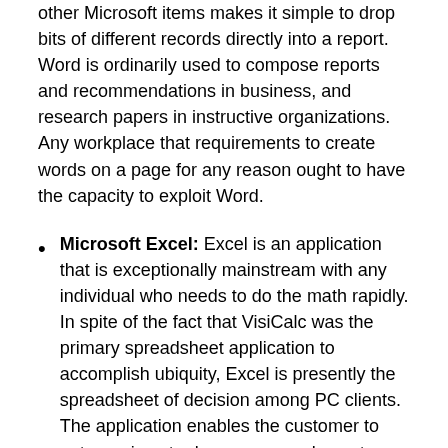other Microsoft items makes it simple to drop bits of different records directly into a report. Word is ordinarily used to compose reports and recommendations in business, and research papers in instructive organizations. Any workplace that requirements to create words on a page for any reason ought to have the capacity to exploit Word.
Microsoft Excel: Excel is an application that is exceptionally mainstream with any individual who needs to do the math rapidly. In spite of the fact that VisiCalc was the primary spreadsheet application to accomplish ubiquity, Excel is presently the spreadsheet of decision among PC clients. The application enables the customer to enter recipes to do programmed counts, and has numerous standard capacities, for example, normal implicit. Exceed expectations likewise completes an incredible activity of changing over the information into one of a few distinctive diagrams writes that would then